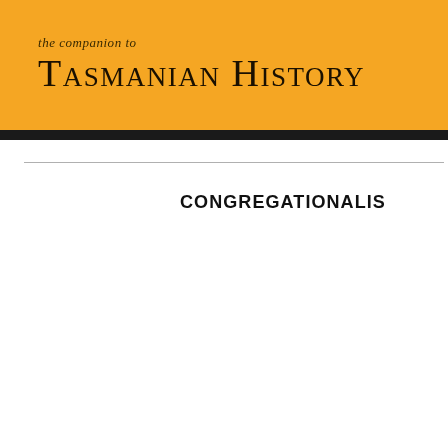the companion to TASMANIAN HISTORY
CONGREGATIONALIS